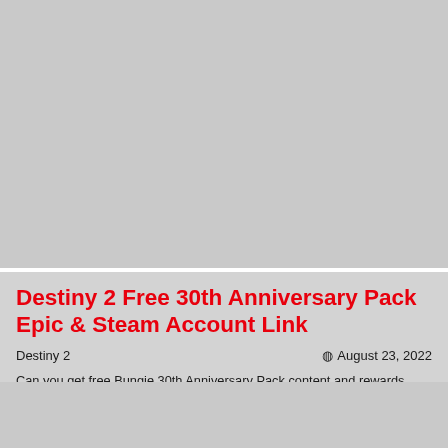[Figure (screenshot): Gray placeholder image area at the top of the page]
Destiny 2 Free 30th Anniversary Pack Epic & Steam Account Link
Destiny 2
August 23, 2022
Can you get free Bungie 30th Anniversary Pack content and rewards from the Epic Games Store on your main Steam account? Bungie and Epic Games…
[Figure (screenshot): Black modal/popup overlay with X close button in the lower right portion of the page]